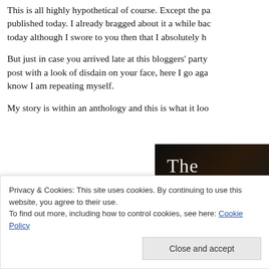This is all highly hypothetical of course. Except the pa published today. I already bragged about it a while bac today although I swore to you then that I absolutely h
But just in case you arrived late at this bloggers' party post with a look of disdain on your face, here I go aga know I am repeating myself.
My story is within an anthology and this is what it loo
[Figure (photo): Book cover image on dark background showing 'The' and partial letters 'Da' or 'Be' in white serif font, with animal (bear) texture visible on the right side. Bottom shows partial text 'bed' in large serif letters.]
Privacy & Cookies: This site uses cookies. By continuing to use this website, you agree to their use.
To find out more, including how to control cookies, see here: Cookie Policy